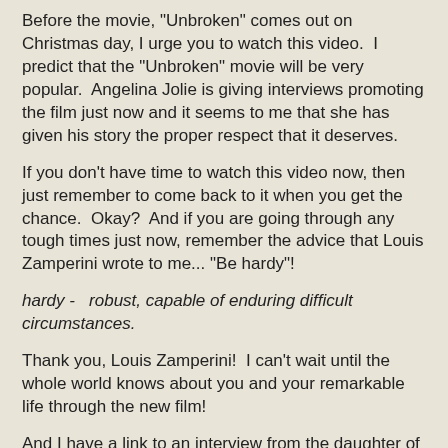Before the movie, "Unbroken" comes out on Christmas day, I urge you to watch this video.  I predict that the "Unbroken" movie will be very popular.  Angelina Jolie is giving interviews promoting the film just now and it seems to me that she has given his story the proper respect that it deserves.
If you don't have time to watch this video now, then just remember to come back to it when you get the chance.  Okay?  And if you are going through any tough times just now, remember the advice that Louis Zamperini wrote to me... "Be hardy"!
hardy -   robust, capable of enduring difficult circumstances.
Thank you, Louis Zamperini!  I can't wait until the whole world knows about you and your remarkable life through the new film!
And I have a link to an interview from the daughter of Louis Zamperini, you may read it just here.
I was pleased to see this since I had never seen or heard